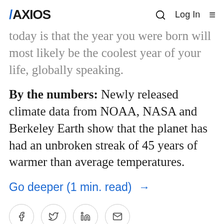AXIOS
today is that the year you were born will most likely be the coolest year of your life, globally speaking.
By the numbers: Newly released climate data from NOAA, NASA and Berkeley Earth show that the planet has had an unbroken streak of 45 years of warmer than average temperatures.
Go deeper (1 min. read) →
Rebecca Falconer, Sareen Habeshian
3 mins ago · Energy & Environment